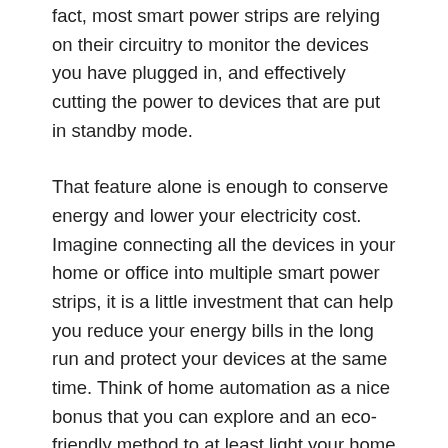fact, most smart power strips are relying on their circuitry to monitor the devices you have plugged in, and effectively cutting the power to devices that are put in standby mode.
That feature alone is enough to conserve energy and lower your electricity cost. Imagine connecting all the devices in your home or office into multiple smart power strips, it is a little investment that can help you reduce your energy bills in the long run and protect your devices at the same time. Think of home automation as a nice bonus that you can explore and an eco-friendly method to at least light your home and office.
[Figure (photo): A small circular avatar/profile photo at the bottom of the page in a light blue-gray section]